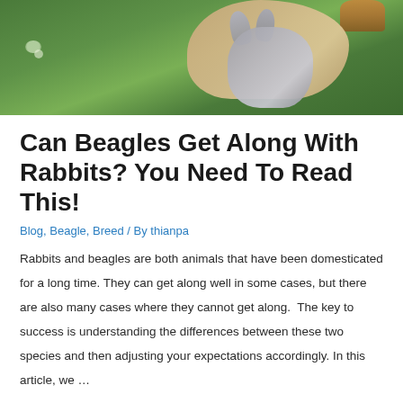[Figure (photo): Photo of a beagle dog with a stuffed gray rabbit toy on green grass, with a basket visible in the upper right corner.]
Can Beagles Get Along With Rabbits? You Need To Read This!
Blog, Beagle, Breed / By thianpa
Rabbits and beagles are both animals that have been domesticated for a long time. They can get along well in some cases, but there are also many cases where they cannot get along.  The key to success is understanding the differences between these two species and then adjusting your expectations accordingly. In this article, we …